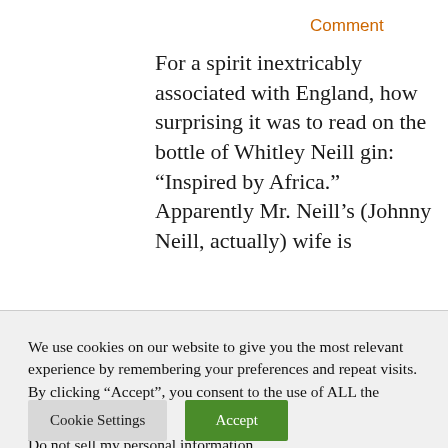Comment
For a spirit inextricably associated with England, how surprising it was to read on the bottle of Whitley Neill gin: “Inspired by Africa.” Apparently Mr. Neill’s (Johnny Neill, actually) wife is
We use cookies on our website to give you the most relevant experience by remembering your preferences and repeat visits. By clicking “Accept”, you consent to the use of ALL the cookies.
Do not sell my personal information.